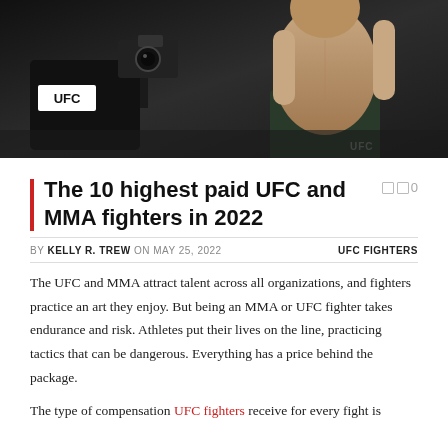[Figure (photo): UFC fighter shirtless celebrating in the octagon with a UFC camera crew and camera person visible in the foreground, chain-link fence in the background]
The 10 highest paid UFC and MMA fighters in 2022
BY KELLY R. TREW ON MAY 25, 2022   UFC FIGHTERS
The UFC and MMA attract talent across all organizations, and fighters practice an art they enjoy. But being an MMA or UFC fighter takes endurance and risk. Athletes put their lives on the line, practicing tactics that can be dangerous. Everything has a price behind the package.
The type of compensation UFC fighters receive for every fight is